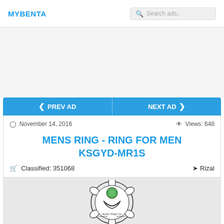MYBENTA | Search ads..
November 14, 2016  |  Views: 648
MENS RING - RING FOR MEN KSGYD-MR1S
Classified: 351068  |  Rizal
[Figure (logo): Katie Shop Go store logo - circular emblem with green gem ring and decorative text]